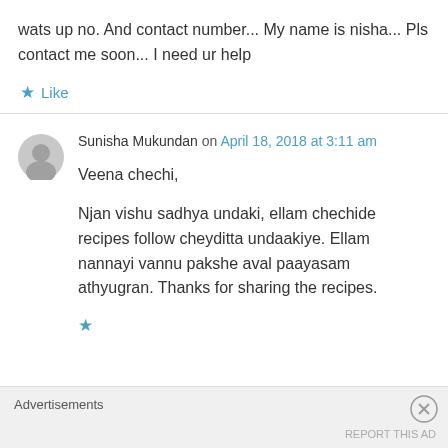wats up no. And contact number... My name is nisha... Pls contact me soon... I need ur help
★ Like
Sunisha Mukundan on April 18, 2018 at 3:11 am
Veena chechi,
Njan vishu sadhya undaki, ellam chechide recipes follow cheyditta undaakiye. Ellam nannayi vannu pakshe aval paayasam athyugran. Thanks for sharing the recipes.
Advertisements
REPORT THIS AD